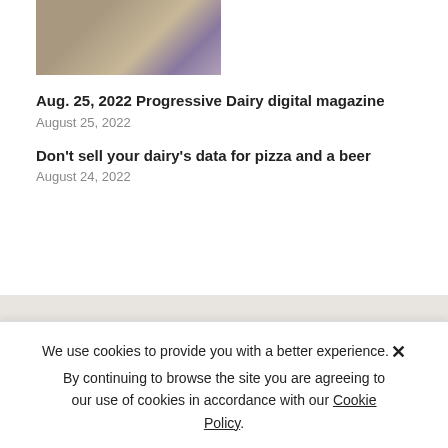[Figure (photo): Partial photo of people standing, cropped at top of page]
Aug. 25, 2022 Progressive Dairy digital magazine
August 25, 2022
Don't sell your dairy's data for pizza and a beer
August 24, 2022
FREE NEWSLETTERS
Award-winning coverage of in-depth news and
We use cookies to provide you with a better experience. By continuing to browse the site you are agreeing to our use of cookies in accordance with our Cookie Policy.